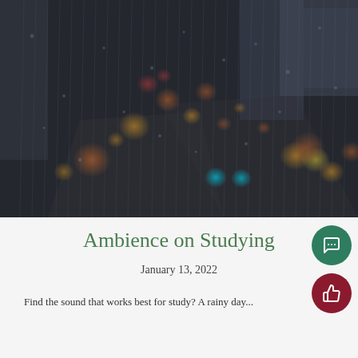[Figure (photo): A rainy city scene viewed through a rain-streaked window. Blurred bokeh lights in orange, yellow, red, cyan dot the image. Buildings are visible in the background. The foreground glass has water droplets streaming down.]
Ambience on Studying
January 13, 2022
Find the sound that works best for study? A rainy day...